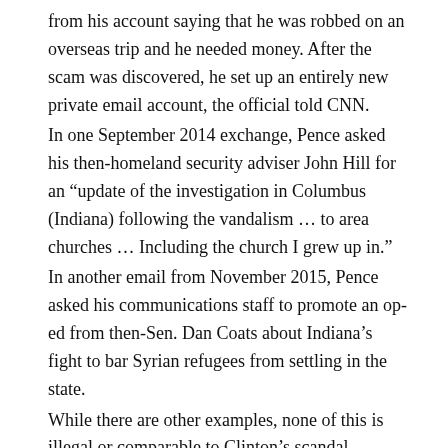from his account saying that he was robbed on an overseas trip and he needed money. After the scam was discovered, he set up an entirely new private email account, the official told CNN. In one September 2014 exchange, Pence asked his then-homeland security adviser John Hill for an “update of the investigation in Columbus (Indiana) following the vandalism … to area churches … Including the church I grew up in.” In another email from November 2015, Pence asked his communications staff to promote an op-ed from then-Sen. Dan Coats about Indiana’s fight to bar Syrian refugees from settling in the state. While there are other examples, none of this is illegal or comparable to Clinton’s scandal. Obviously, Pence would not be handling classified documents or information. Some Pence emails were blacked out for confidentiality and Gov. Eric Holcomb declined to release others because